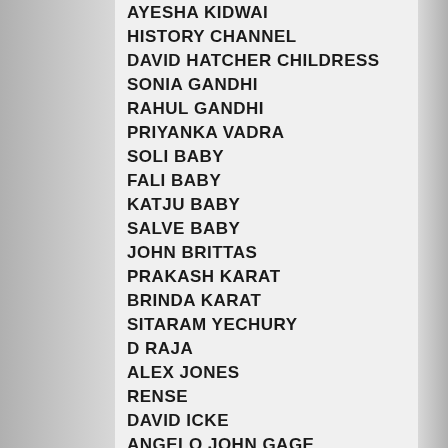AYESHA KIDWAI
HISTORY CHANNEL
DAVID HATCHER CHILDRESS
SONIA GANDHI
RAHUL GANDHI
PRIYANKA VADRA
SOLI BABY
FALI BABY
KATJU BABY
SALVE BABY
JOHN BRITTAS
PRAKASH KARAT
BRINDA KARAT
SITARAM YECHURY
D RAJA
ALEX JONES
RENSE
DAVID ICKE
ANGELO JOHN GAGE
DEEPAK CHOPRA
ROBIN SHARMA
TAREK FATEH